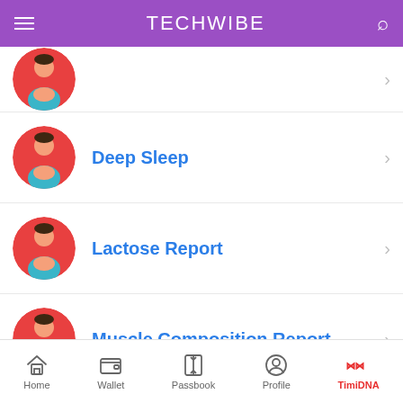TECHWIBE
Deep Sleep
Lactose Report
Muscle Composition Report
Saturated Fat And Weight Rep...
Home | Wallet | Passbook | Profile | TimiDNA